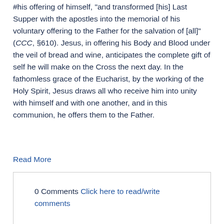#his offering of himself, "and transformed [his] Last Supper with the apostles into the memorial of his voluntary offering to the Father for the salvation of [all]" (CCC, §610). Jesus, in offering his Body and Blood under the veil of bread and wine, anticipates the complete gift of self he will make on the Cross the next day. In the fathomless grace of the Eucharist, by the working of the Holy Spirit, Jesus draws all who receive him into unity with himself and with one another, and in this communion, he offers them to the Father.
Read More
0 Comments Click here to read/write comments
Topics: art, Holy Thursday, Lent, Paschal Triduum